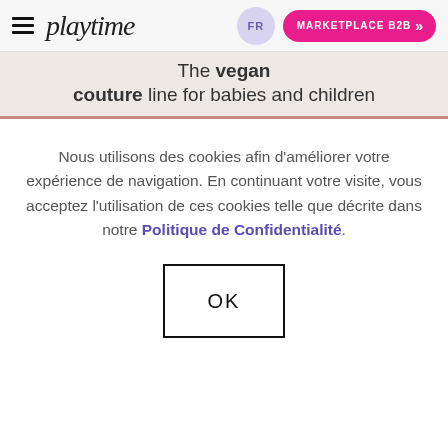playtime — FR — MARKETPLACE B2B
The vegan couture line for babies and children
Nous utilisons des cookies afin d'améliorer votre expérience de navigation. En continuant votre visite, vous acceptez l'utilisation de ces cookies telle que décrite dans notre Politique de Confidentialité.
OK